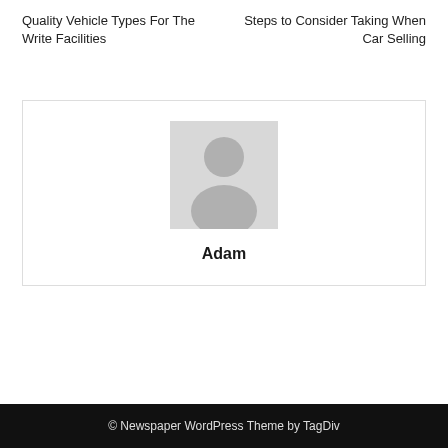Quality Vehicle Types For The Write Facilities
Steps to Consider Taking When Car Selling
[Figure (illustration): Generic user avatar placeholder — grey silhouette of a person on a light grey background]
Adam
© Newspaper WordPress Theme by TagDiv